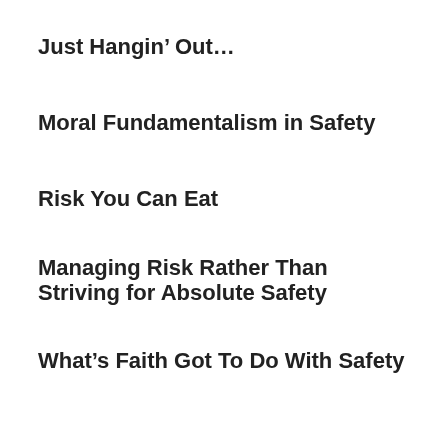Just Hangin' Out…
Moral Fundamentalism in Safety
Risk You Can Eat
Managing Risk Rather Than Striving for Absolute Safety
What's Faith Got To Do With Safety
[Figure (other): Ad widget showing 'Search for' bar with two results: 1. Health and Safety Plan, 2. Health and Safety Risk Assessment]